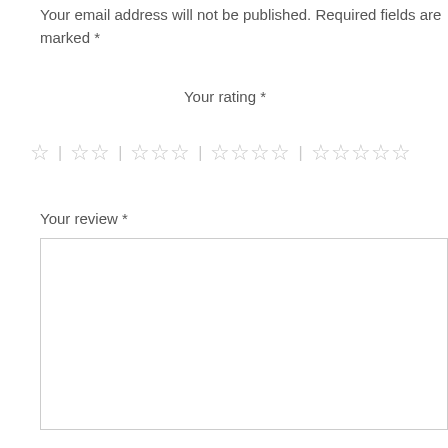Your email address will not be published. Required fields are marked *
Your rating *
[Figure (other): Star rating selector with 1, 2, 3, 4, and 5 empty star options separated by vertical bars]
Your review *
[Figure (other): Text area input box for review]
Name
[Figure (other): Text input box for name]
Email